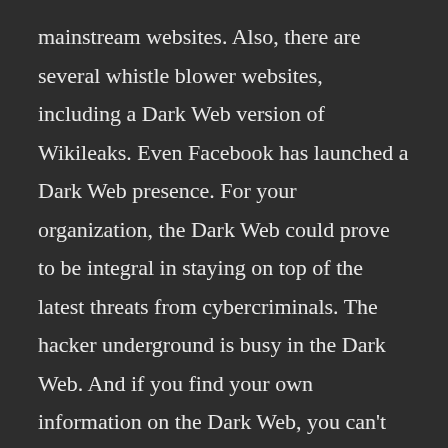mainstream websites. Also, there are several whistle blower websites, including a Dark Web version of Wikileaks. Even Facebook has launched a Dark Web presence. For your organization, the Dark Web could prove to be integral in staying on top of the latest threats from cybercriminals. The hacker underground is busy in the Dark Web. And if you find your own information on the Dark Web, you can't do much about it, but at least you'll know you've been compromised.
2W Tech can help your business access the Dark Web and become familiar with its idiosyncrasies